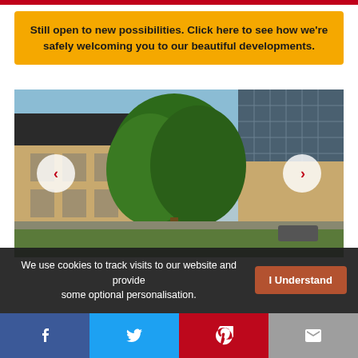Still open to new possibilities. Click here to see how we’re safely welcoming you to our beautiful developments.
[Figure (photo): Exterior photo of a residential development with brick buildings and trees in the foreground, navigation arrows on left and right]
We use cookies to track visits to our website and provide some optional personalisation. I Understand
[Figure (infographic): Social sharing bar with Facebook, Twitter, Pinterest, and email icons]